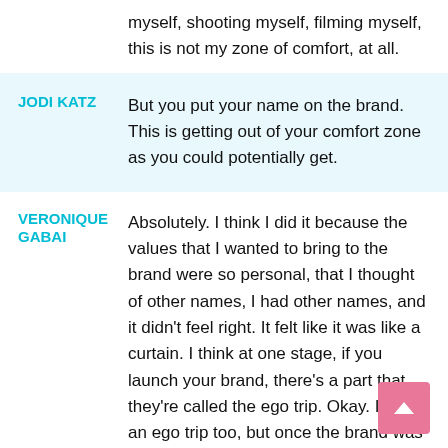myself, shooting myself, filming myself, this is not my zone of comfort, at all.
JODI KATZ
But you put your name on the brand. This is getting out of your comfort zone as you could potentially get.
VERONIQUE GABAI
Absolutely. I think I did it because the values that I wanted to bring to the brand were so personal, that I thought of other names, I had other names, and it didn't feel right. It felt like it was like a curtain. I think at one stage, if you launch your brand, there's a part that they're called the ego trip. Okay. I had an ego trip too, but once the brand was formed, the ego trip was behind me.
I think that when you open the curt